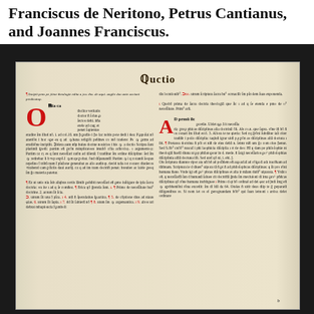Franciscus de Neritono, Petrus Cantianus, and Joannes Franciscus.
[Figure (photo): Photograph of a medieval manuscript page (incunabulum) with two columns of gothic blackletter text in Latin, with red decorative initials and a large red drop capital 'O'. The page header reads 'Questio' in ornate gothic script. The manuscript shows typical medieval scholastic theological text, likely from Thomas Aquinas's Summa Theologica.]